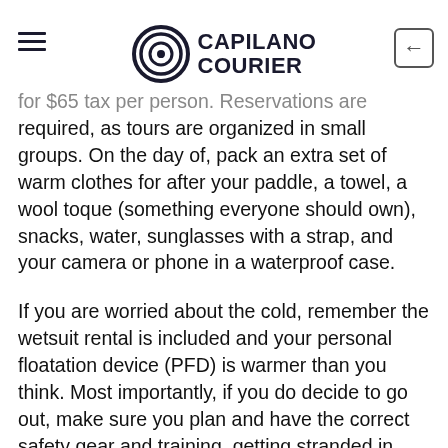Capilano Courier
for $65 tax per person. Reservations are required, as tours are organized in small groups. On the day of, pack an extra set of warm clothes for after your paddle, a towel, a wool toque (something everyone should own), snacks, water, sunglasses with a strap, and your camera or phone in a waterproof case.
If you are worried about the cold, remember the wetsuit rental is included and your personal floatation device (PFD) is warmer than you think. Most importantly, if you do decide to go out, make sure you plan and have the correct safety gear and training, getting stranded in cold waters is no joke.